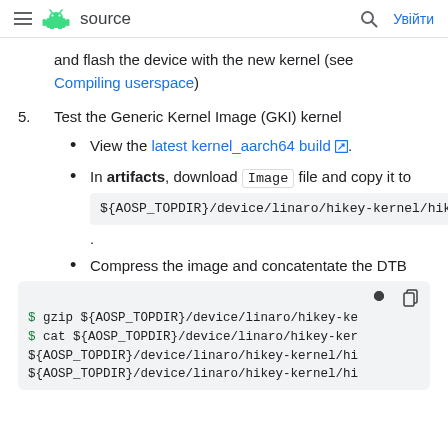≡ [android logo] source  [search icon]  Увійти
and flash the device with the new kernel (see Compiling userspace)
5. Test the Generic Kernel Image (GKI) kernel
View the latest kernel_aarch64 build [external link].
In artifacts, download Image file and copy it to ${AOSP_TOPDIR}/device/linaro/hikey-kernel/hikey960/5.4/ .
Compress the image and concatentate the DTB
$ gzip ${AOSP_TOPDIR}/device/linaro/hikey-ke
$ cat ${AOSP_TOPDIR}/device/linaro/hikey-ker
${AOSP_TOPDIR}/device/linaro/hikey-kernel/hi
${AOSP_TOPDIR}/device/linaro/hikey-kernel/hi